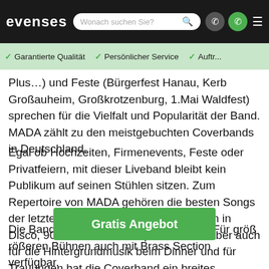evenses — Wonach suchen Sie? [search icon] [phone icon] [whatsapp icon] [menu icon]
✓ Garantierte Qualität  ✓ Persönlicher Service  ✓ Auftr...
Plus…) und Feste (Bürgerfest Hanau, Kerb Großauheim, Großkrotzenburg, 1.Mai Waldfest) sprechen für die Vielfalt und Popularität der Band. MADA zählt zu den meistgebuchten Coverbands in Deutschland.
Egal ob Hochzeiten, Firmenevents, Feste oder Privatfeiern, mit dieser Liveband bleibt kein Publikum auf seinen Stühlen sitzen. Zum Repertoire von MADA gehören die besten Songs der letzten 70 Jahren, mit Schwerpunkten in Disco, 90er/2000er und Pop/Rock Hits. Aber auch für die Hintergrundmusik beim Dinner und für Trauungen hat die Coverband ein breites Repertoire.
Die Band besteh… assen auf jede Bühne. Für größ… rößeren Bühnen auch mit Brass Section verfügbar.
[Figure (other): Green 'Gratis Angebot' call-to-action button overlaid on the last paragraph text]